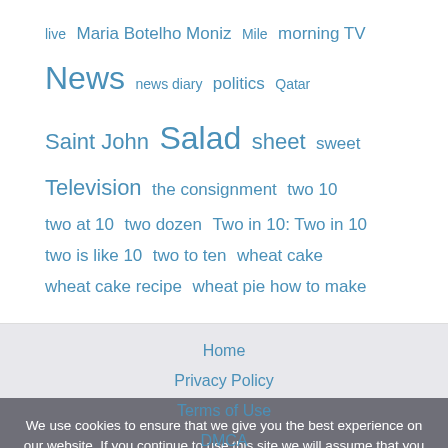live  Maria Botelho Moniz  Mile  morning TV  News  news diary  politics  Qatar  Saint John  Salad  sheet  sweet  Television  the consignment  two 10  two at 10  two dozen  Two in 10: Two in 10  two is like 10  two to ten  wheat cake  wheat cake recipe  wheat pie how to make
Home
Privacy Policy
Terms of Use
DMCA
Cookie Policy
California Consumer Privacy Act (CCPA)
About Us
We use cookies to ensure that we give you the best experience on our website. If you continue to use this site we will assume that you are happy with it